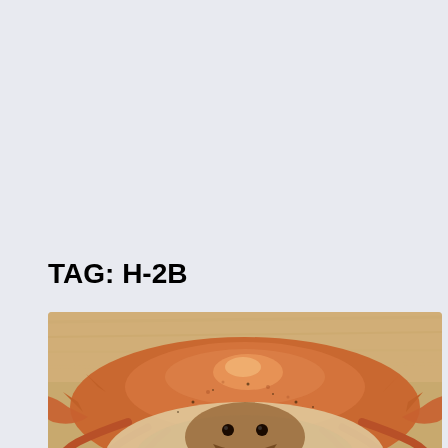TAG: H-2B
[Figure (photo): Close-up photograph of a cooked orange/red crab viewed from the front, showing its carapace, claws, and underside, placed on a wooden surface.]